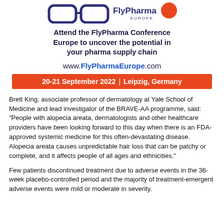[Figure (logo): FlyPharma Europe logo with stylized glasses icon, dark blue text and orange circle element]
Attend the FlyPharma Conference Europe to uncover the potential in your pharma supply chain
www.FlyPharmaEurope.com
20-21 September 2022 | Leipzig, Germany
Brett King, associate professor of dermatology at Yale School of Medicine and lead investigator of the BRAVE-AA programme, said: "People with alopecia areata, dermatologists and other healthcare providers have been looking forward to this day when there is an FDA-approved systemic medicine for this often-devastating disease. Alopecia areata causes unpredictable hair loss that can be patchy or complete, and it affects people of all ages and ethnicities."
Few patients discontinued treatment due to adverse events in the 36-week placebo-controlled period and the majority of treatment-emergent adverse events were mild or moderate in severity.